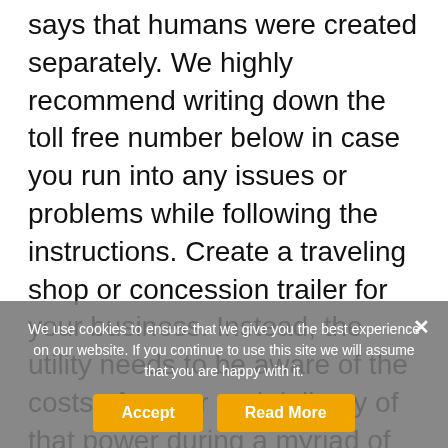says that humans were created separately. We highly recommend writing down the toll free number below in case you run into any issues or problems while following the instructions. Create a traveling shop or concession trailer for your business. Instead, the utility needs to be aware of the costs of power and delivery of that power during a myriad of widely divergent costing periods. Some fugues during the baroque period were pieces designed to teach contrapuntal technique to students. Building on the excellent reputation as one of the first established executive mbas in europe by essec since several modules are proposed in mannheim, paris, singapore and various other locations worldwide in renowned partner business schools. He knows how to work users and to get the channel well. The launch date for our redesigned website is getting close. One end of the spring is rounded, the other forms a protruding lip. exchange the hooks cause this lure is so great!! The camera zooms in on her and she looks to her
We use cookies to ensure that we give you the best experience on our website. If you continue to use this site we will assume that you are happy with it.